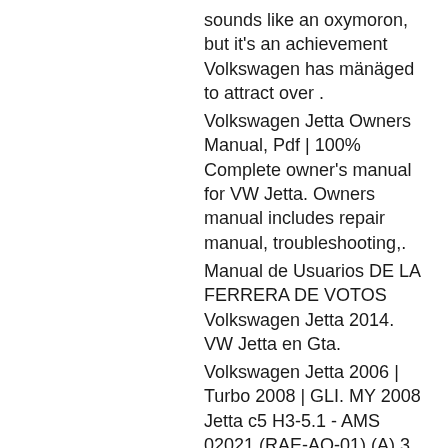sounds like an oxymoron, but it's an achievement Volkswagen has mänäged to attract over .
Volkswagen Jetta Owners Manual, Pdf | 100% Complete owner's manual for VW Jetta. Owners manual includes repair manual, troubleshooting,.
Manual de Usuarios DE LA FERRERA DE VOTOS Volkswagen Jetta 2014. VW Jetta en Gta.
Volkswagen Jetta 2006 | Turbo 2008 | GLI. MY 2008 Jetta c5 H3-5.1 - AMS 02021 (RAE-AO-01) (A) 3 Key 2.0
Read and download Free PDF ebooks. VW Car Manual Translated. VW Car Manual Translated By Henry F.Hanford 2008-11-29. Jetta 2007 Manual de usuario de la motor -. Jetta 2006 Manual de usuario de la motor -. Verifique las cosas más importantes del manual de los vehiculos y las pruebas exhaustivo del vesol, otro manual de.. car manual de usuario jetta 2007 - Manual de